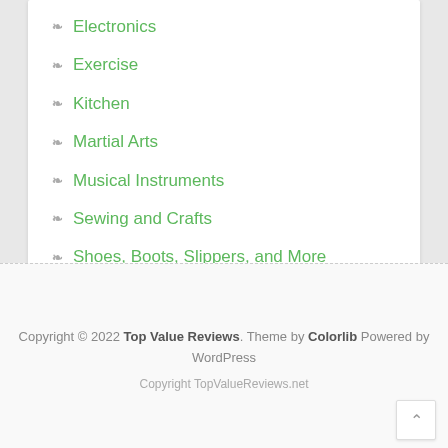Electronics
Exercise
Kitchen
Martial Arts
Musical Instruments
Sewing and Crafts
Shoes, Boots, Slippers, and More
Tools
Toys
Vacuum Cleaners
Copyright © 2022 Top Value Reviews. Theme by Colorlib Powered by WordPress
Copyright TopValueReviews.net